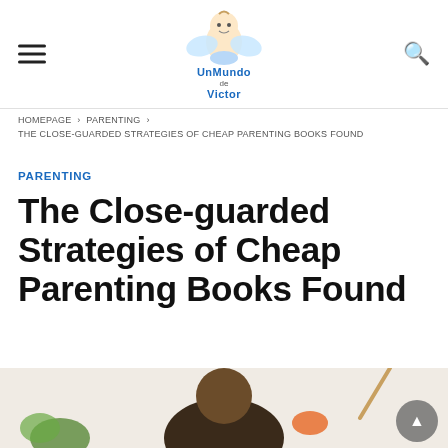[Figure (logo): UnMundo de Victor baby blog logo — cartoon baby angel with wings, colorful script text reading 'UnMundo de Victor']
HOMEPAGE > PARENTING > THE CLOSE-GUARDED STRATEGIES OF CHEAP PARENTING BOOKS FOUND
PARENTING
The Close-guarded Strategies of Cheap Parenting Books Found
[Figure (photo): A man (appears to be a father) looking down at a baby or child, with colorful background elements visible]